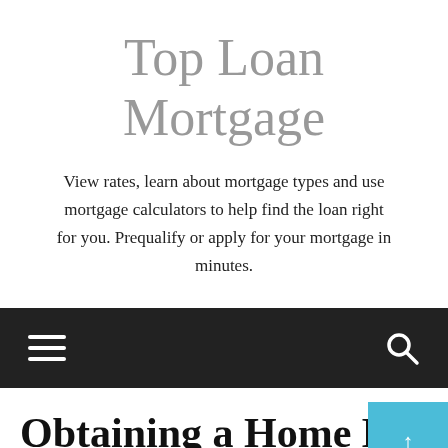Top Loan Mortgage
View rates, learn about mortgage types and use mortgage calculators to help find the loan right for you. Prequalify or apply for your mortgage in minutes.
[Figure (screenshot): Dark navigation bar with hamburger menu icon on the left and search magnifying glass icon on the right]
Obtaining a Home Mortga